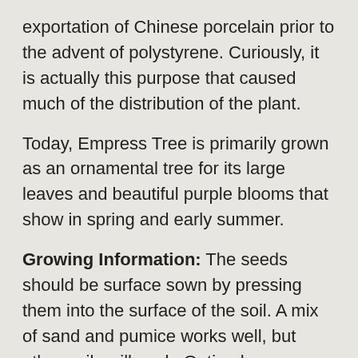exportation of Chinese porcelain prior to the advent of polystyrene. Curiously, it is actually this purpose that caused much of the distribution of the plant.
Today, Empress Tree is primarily grown as an ornamental tree for its large leaves and beautiful purple blooms that show in spring and early summer.
Growing Information: The seeds should be surface sown by pressing them into the surface of the soil. A mix of sand and pumice works well, but other soils will work. Optimal germination occurs at 75-80 degrees Fahrenheit. Situate the plants in a location in full sun, keeping them spaced three inches apart for the first year. Water sparingly. Empress Tree is hardy to zone 6.
In purchasing, International buyers agree to assume the